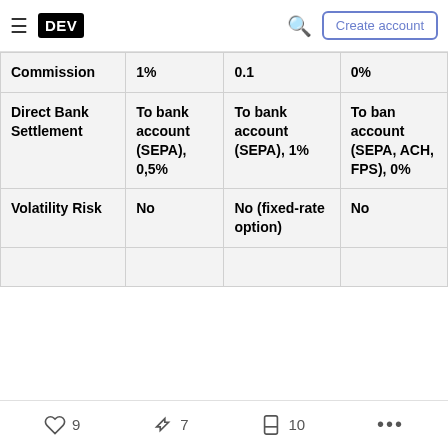DEV — hamburger menu, search, Create account
|  | Col1 | Col2 | Col3 (partial) |
| --- | --- | --- | --- |
| Commission | 1% | 0.1 | 0% |
| Direct Bank Settlement | To bank account (SEPA), 0,5% | To bank account (SEPA), 1% | To bank account (SEPA, ACH, FPS), 0% |
| Volatility Risk | No | No (fixed-rate option) | No |
9 likes  7 reactions  10 bookmarks  ...